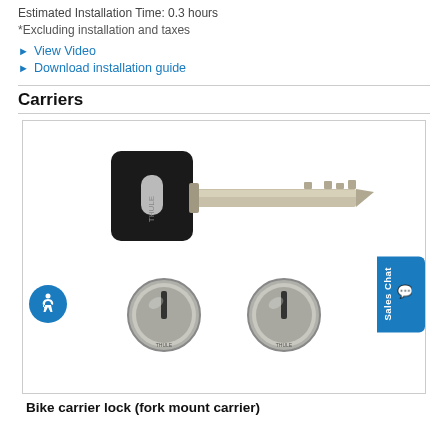Estimated Installation Time: 0.3 hours
*Excluding installation and taxes
View Video
Download installation guide
Carriers
[Figure (photo): A Thule bike carrier lock set showing a key with black plastic head and silver blade, and two round lock cylinders with slot-head inserts.]
Bike carrier lock (fork mount carrier)